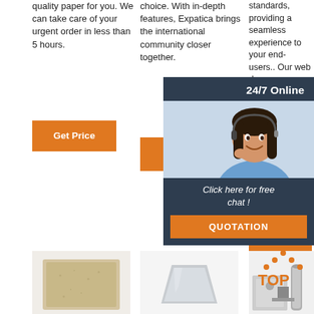quality paper for you. We can take care of your urgent order in less than 5 hours.
choice. With in-depth features, Expatica brings the international community closer together.
standards, providing a seamless experience to your end-users.. Our web de... create... perform... websit... state-c... websit... develo... practic...
[Figure (other): Orange 'Get Price' button]
[Figure (other): Orange 'Get Price' button]
[Figure (other): Chat overlay with agent photo, '24/7 Online' header, 'Click here for free chat!' message and QUOTATION button]
[Figure (other): Orange 'Get' button (partially obscured)]
[Figure (photo): Product photo: beige/tan material block]
[Figure (photo): Product photo: grey ceramic/plastic box shape]
[Figure (illustration): TOP arrow logo in orange dots with grey pillar, and product photo behind]